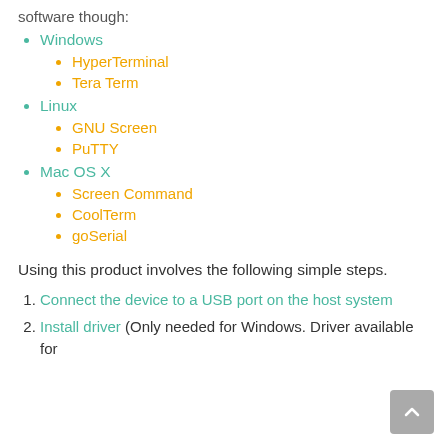software though:
Windows
HyperTerminal
Tera Term
Linux
GNU Screen
PuTTY
Mac OS X
Screen Command
CoolTerm
goSerial
Using this product involves the following simple steps.
Connect the device to a USB port on the host system
Install driver (Only needed for Windows. Driver available for